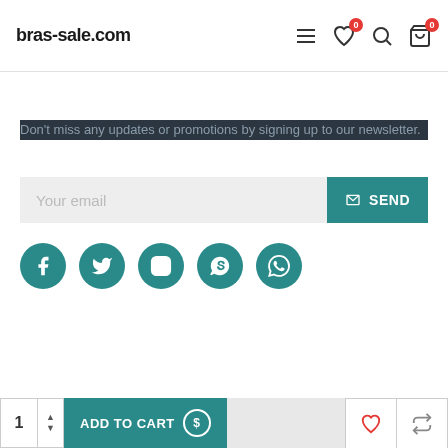bras-sale.com
Newsletter
Don't miss any updates or promotions by signing up to our newsletter.
Your email [input] SEND
[Figure (infographic): Social media icons: Facebook, Twitter, Instagram, Skype, WhatsApp — teal circular buttons]
Copyright © 2020, bras-sale.com, All Rights Reserved
[Figure (other): Payment icons: VISA, Mastercard, PayPal, American Express, Discover]
Contact US
1  ADD TO CART